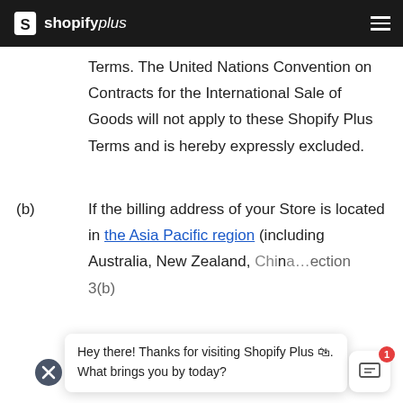shopify plus
Terms. The United Nations Convention on Contracts for the International Sale of Goods will not apply to these Shopify Plus Terms and is hereby expressly excluded.
(b)  If the billing address of your Store is located in the Asia Pacific region (including Australia, New Zealand, China...ection 3(b)
Hey there! Thanks for visiting Shopify Plus. What brings you by today?